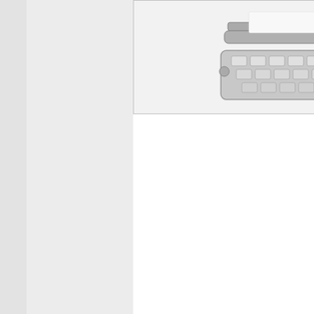[Figure (photo): Photograph of an Olympia typewriter with angular modern body, viewed from above at an angle, showing keyboard keys.]
with a modern angular body produced in 3 white, pink, a Some have a Western Ger badge below Olympia logo don't.

The SM7s wit blue bodies a have all-whit knobs, while painted ones turquoise shi and knobs. Th have a squar case with gr white stripes Model SM-5 b Introduced at time as the S SM5 was a le